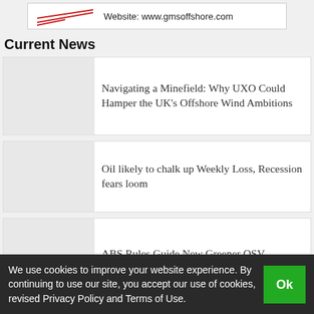[Figure (logo): GMS Offshore logo with red swoosh lines and website URL: www.gmsoffshore.com]
Current News
Navigating a Minefield: Why UXO Could Hamper the UK’s Offshore Wind Ambitions
Oil likely to chalk up Weekly Loss, Recession fears loom
ABS Rules Guide New Greener OSV
Researchers Study Offshore
We use cookies to improve your website experience. By continuing to use our site, you accept our use of cookies, revised Privacy Policy and Terms of Use.